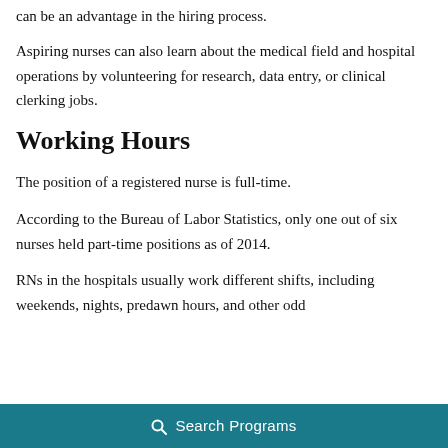can be an advantage in the hiring process.
Aspiring nurses can also learn about the medical field and hospital operations by volunteering for research, data entry, or clinical clerking jobs.
Working Hours
The position of a registered nurse is full-time.
According to the Bureau of Labor Statistics, only one out of six nurses held part-time positions as of 2014.
RNs in the hospitals usually work different shifts, including weekends, nights, predawn hours, and other odd
Search Programs